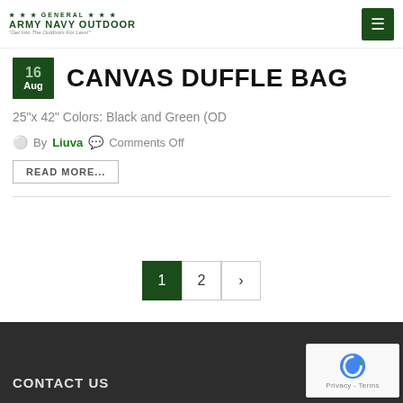*** GENERAL *** ARMY NAVY OUTDOOR "Get Into The Outdoors For Less!"
CANVAS DUFFLE BAG
25"x 42" Colors: Black and Green (OD
By Liuva   Comments Off
READ MORE...
1  2  ›
CONTACT US